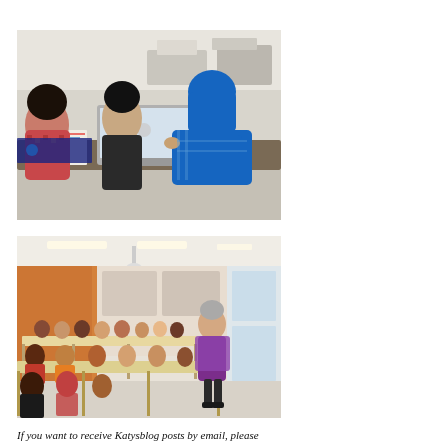[Figure (photo): Three students, two women and one man, looking at a laptop screen together at a classroom desk. One woman is wearing a blue hijab and blue top, another has dark hair and dark clothing, and the third has dark curly hair wearing a patterned sweater. Papers and notebooks are on the desk. Classroom chairs and tables visible in the background.]
[Figure (photo): A teacher or presenter wearing a purple outfit stands at the front of a classroom. Many students are seated at long tables arranged in rows, facing the presenter. The room has orange/wood-paneled walls, bright overhead lighting, and large windows on the right side.]
If you want to receive Katysblog posts by email, please